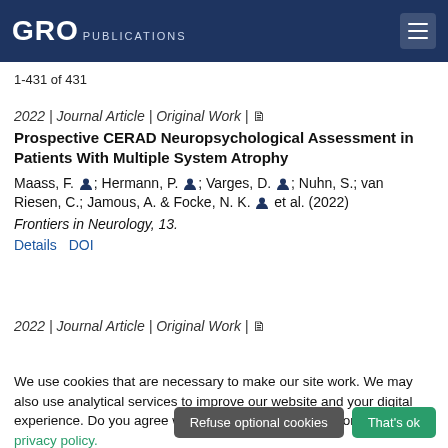GRO PUBLICATIONS
1-431 of 431
2022 | Journal Article | Original Work |
Prospective CERAD Neuropsychological Assessment in Patients With Multiple System Atrophy
Maass, F.; Hermann, P.; Varges, D.; Nuhn, S.; van Riesen, C.; Jamous, A. & Focke, N. K. et al. (2022)
Frontiers in Neurology, 13.
Details  DOI
2022 | Journal Article | Original Work |
We use cookies that are necessary to make our site work. We may also use analytical services to improve our website and your digital experience. Do you agree with this? For more information, see our our privacy policy.